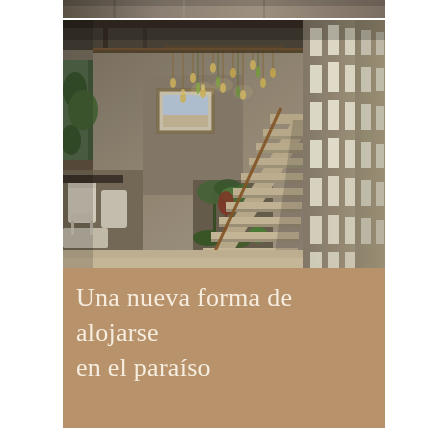[Figure (photo): Top strip of a photo showing an interior architectural space with concrete walls]
[Figure (photo): Interior architectural photograph of a modern concrete building featuring a grand staircase with floating steps, an illuminated wall with rectangular cutout openings on the right, a chandelier with pendant lights hanging from above, tropical plants at the base of the stairs, white chairs and a dining table visible on the left, and a framed artwork on the concrete wall.]
Una nueva forma de alojarse en el paraíso